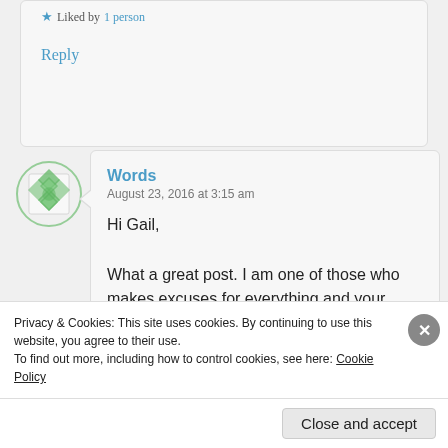★ Liked by 1 person
Reply
Words
August 23, 2016 at 3:15 am
Hi Gail,

What a great post. I am one of those who makes excuses for everything and your words have given me a huge kick up the backside.

*Confession time* I am fat because
Privacy & Cookies: This site uses cookies. By continuing to use this website, you agree to their use.
To find out more, including how to control cookies, see here: Cookie Policy
Close and accept